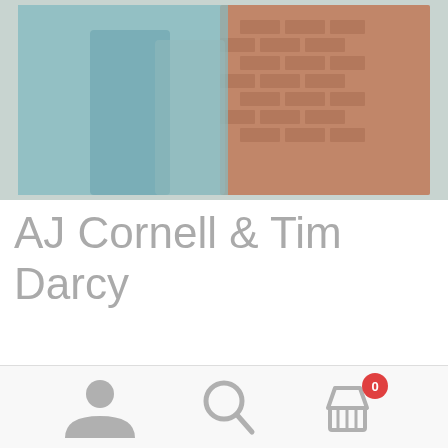[Figure (photo): Two people standing outdoors near a brick wall, one wearing a teal/blue outfit, photographed from the waist down]
AJ Cornell & Tim Darcy
Fans of the Montreal post-punk outfit Ought may be taken aback by lead singer Tim Darcy's new collaboration with aural experimentalist Andrea-Jane Cornell. Gone are the catchy hooks, synthesizer riffs, key changes, time signatures, and beats — all